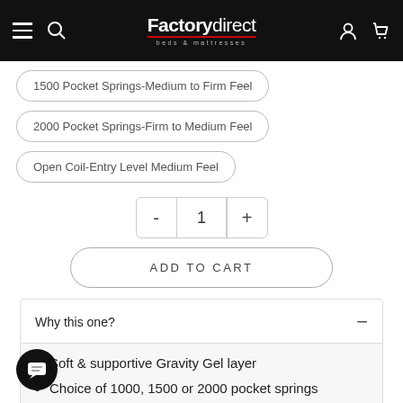Factory direct beds & mattresses
1500 Pocket Springs-Medium to Firm Feel
2000 Pocket Springs-Firm to Medium Feel
Open Coil-Entry Level Medium Feel
- 1 +
ADD TO CART
Why this one?
Soft & supportive Gravity Gel layer
Choice of 1000, 1500 or 2000 pocket springs
Bug Guard Cover